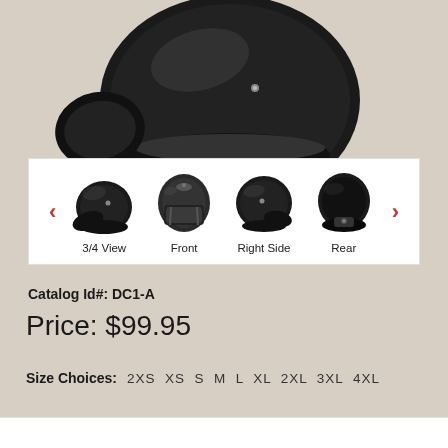[Figure (photo): Black motorcycle helmet shown from above/top angle on beige textured background]
[Figure (photo): Thumbnail strip showing four views of black motorcycle helmet: 3/4 View, Front, Right Side, Rear with navigation arrows]
Catalog Id#: DC1-A
Price: $99.95
Size Choices: 2XS XS S M L XL 2XL 3XL 4XL